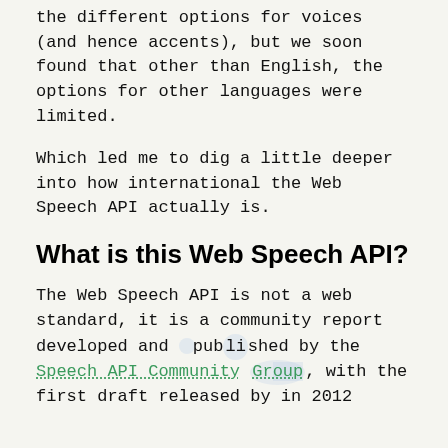the different options for voices (and hence accents), but we soon found that other than English, the options for other languages were limited.
Which led me to dig a little deeper into how international the Web Speech API actually is.
What is this Web Speech API?
The Web Speech API is not a web standard, it is a community report developed and published by the Speech API Community Group, with the first draft released by in 2012